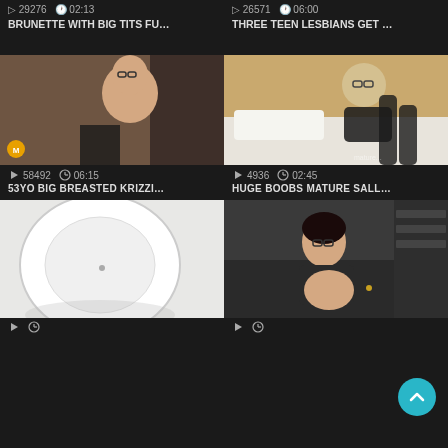29276   02:13
26571   06:00
BRUNETTE WITH BIG TITS FU...
THREE TEEN LESBIANS GET ...
[Figure (photo): Blonde woman with glasses in black lingerie and stockings]
[Figure (photo): Blonde woman with glasses in black lingerie on bed]
58492   06:15
4936   02:45
53YO BIG BREASTED KRIZZI...
HUGE BOOBS MATURE SALL...
[Figure (photo): Close-up abstract white circular shape]
[Figure (photo): Dark-haired woman with glasses on dark couch]